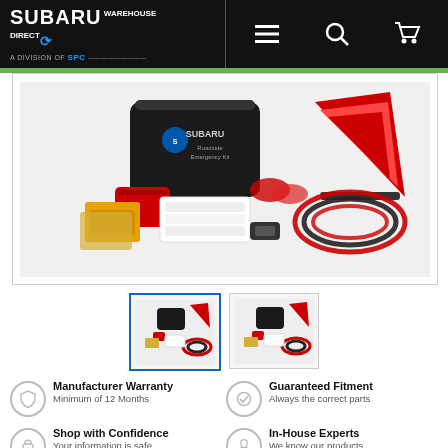SUBARU WAREHOUSE DIRECT - A Division of SPC
[Figure (photo): Subaru Roadside Emergency Kit showing black zippered bag with Subaru logo, red warning triangle, jumper cables, gloves, first aid supplies, and other emergency items spread out]
[Figure (photo): Thumbnail 1 (active/selected): Subaru Roadside Emergency Kit contents]
[Figure (photo): Thumbnail 2: Subaru Roadside Emergency Kit contents alternate view]
Manufacturer Warranty
Minimum of 12 Months
Guaranteed Fitment
Always the correct parts
Shop with Confidence
Your information is safe
In-House Experts
We know our products